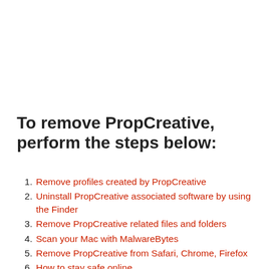To remove PropCreative, perform the steps below:
Remove profiles created by PropCreative
Uninstall PropCreative associated software by using the Finder
Remove PropCreative related files and folders
Scan your Mac with MalwareBytes
Remove PropCreative from Safari, Chrome, Firefox
How to stay safe online